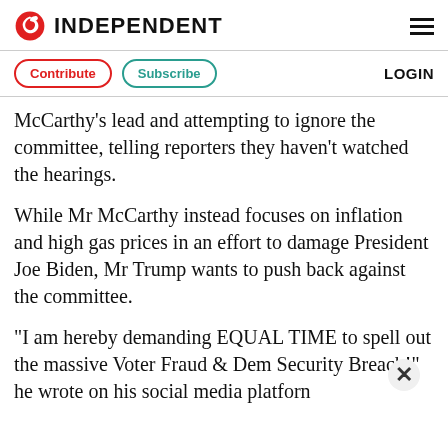INDEPENDENT
Contribute  Subscribe  LOGIN
McCarthy's lead and attempting to ignore the committee, telling reporters they haven't watched the hearings.
While Mr McCarthy instead focuses on inflation and high gas prices in an effort to damage President Joe Biden, Mr Trump wants to push back against the committee.
“I am hereby demanding EQUAL TIME to spell out the massive Voter Fraud & Dem Security Breach!” he wrote on his social media platfor…